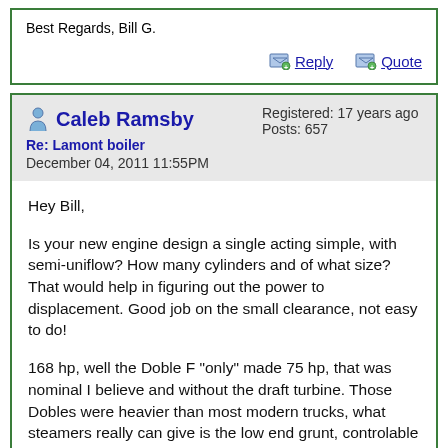Best Regards, Bill G.
Reply   Quote
Caleb Ramsby
Re: Lamont boiler
December 04, 2011 11:55PM
Registered: 17 years ago
Posts: 657
Hey Bill,

Is your new engine design a single acting simple, with semi-uniflow? How many cylinders and of what size? That would help in figuring out the power to displacement. Good job on the small clearance, not easy to do!

168 hp, well the Doble F "only" made 75 hp, that was nominal I believe and without the draft turbine. Those Dobles were heavier than most modern trucks, what steamers really can give is the low end grunt, controlable grunt. The big difference should be 10 to 20 years into the vehicles life, where the steamer should still be making close to factory power and the IC engine